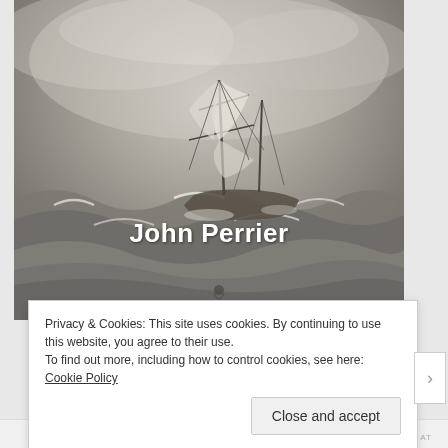[Figure (illustration): A dramatic painting of a sailing ship in a stormy sea with large crashing waves and dark turbulent sky. The ship's masts and rigging are visible against the grey stormy background.]
John Perrier
Privacy & Cookies: This site uses cookies. By continuing to use this website, you agree to their use.
To find out more, including how to control cookies, see here: Cookie Policy